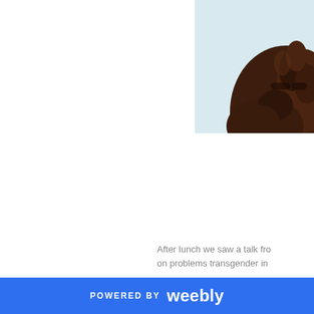[Figure (photo): Partial view of a person with curly brown hair against a light blue/white background, cropped to show top of head and hair only, positioned in upper right corner of page]
After lunch we saw a talk fro on problems transgender in
POWERED BY weebly